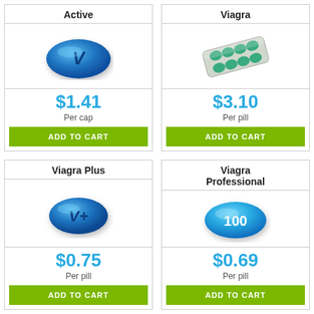Active
[Figure (illustration): Blue oval pill with V letter]
$1.41
Per cap
ADD TO CART
Viagra
[Figure (illustration): Blister pack of green pills]
$3.10
Per pill
ADD TO CART
Viagra Plus
[Figure (illustration): Blue oval pill with V+ text]
$0.75
Per pill
ADD TO CART
Viagra Professional
[Figure (illustration): Blue diamond/oval pill with 100 text]
$0.69
Per pill
ADD TO CART